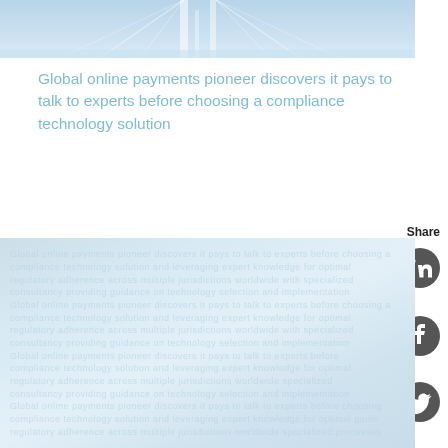[Figure (photo): Top architectural/bridge image with light blue sky and white structural elements]
Global online payments pioneer discovers it pays to talk to experts before choosing a compliance technology solution
Share
[Figure (photo): LinkedIn share icon - dark grey circle with white LinkedIn logo]
[Figure (photo): Facebook share icon - dark grey circle with white Facebook logo]
[Figure (photo): Twitter share icon - dark grey circle with white Twitter bird logo]
[Figure (photo): Bottom section showing faint watermarked text content on light blue/grey background]